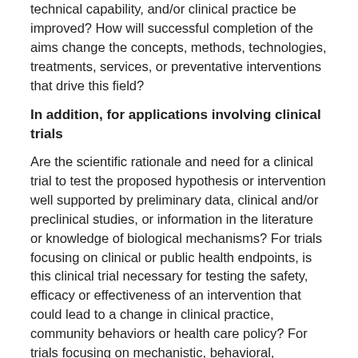technical capability, and/or clinical practice be improved? How will successful completion of the aims change the concepts, methods, technologies, treatments, services, or preventative interventions that drive this field?
In addition, for applications involving clinical trials
Are the scientific rationale and need for a clinical trial to test the proposed hypothesis or intervention well supported by preliminary data, clinical and/or preclinical studies, or information in the literature or knowledge of biological mechanisms? For trials focusing on clinical or public health endpoints, is this clinical trial necessary for testing the safety, efficacy or effectiveness of an intervention that could lead to a change in clinical practice, community behaviors or health care policy? For trials focusing on mechanistic, behavioral, physiological, biochemical, or other biomedical endpoints, is this trial needed to advance scientific understanding?
Investigator(s)
Are the PD(s)/PI(s), collaborators, and other researchers well suited to the project? If Early Stage Investigators or those in the early stages of independent careers, do they have appropriate experience and training? If established, have they demonstrated